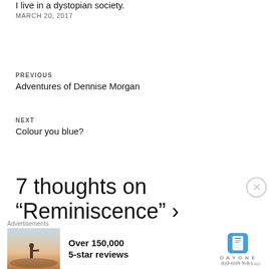I live in a dystopian society.
MARCH 20, 2017
PREVIOUS
Adventures of Dennise Morgan
NEXT
Colour you blue?
7 thoughts on “Reminiscence” ›
[Figure (screenshot): Advertisement banner for Day One Journal app showing a person photographing a landscape and text 'Over 150,000 5-star reviews' with the Day One Journal logo]